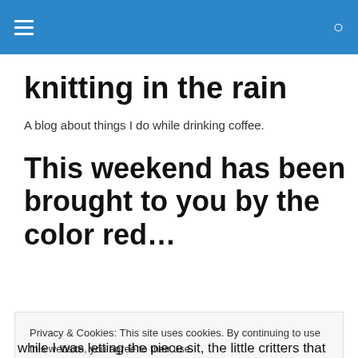knitting in the rain [navigation header with hamburger menu and search icon]
knitting in the rain
A blog about things I do while drinking coffee.
This weekend has been brought to you by the color red...
Privacy & Cookies: This site uses cookies. By continuing to use this website, you agree to their use.
To find out more, including how to control cookies, see here: Cookie Policy
[Close and accept button]
while I was letting the piece sit, the little critters that were